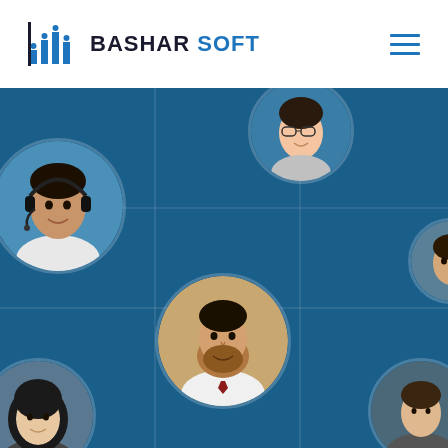[Figure (logo): Bashar Soft logo with bar-chart style icon in blue and company name in dark/blue text]
[Figure (photo): Hero section with dark blue background showing multiple circular portrait photos of diverse professionals connected by grid lines, representing a team or network concept for Bashar Soft]